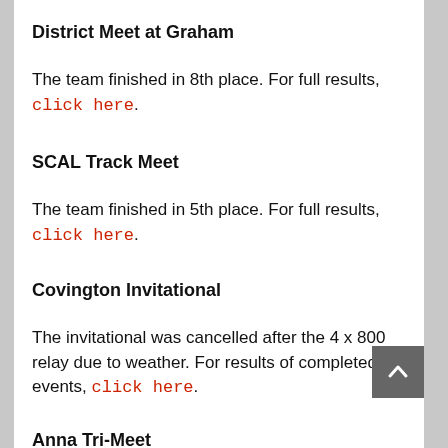District Meet at Graham
The team finished in 8th place. For full results, click here.
SCAL Track Meet
The team finished in 5th place. For full results, click here.
Covington Invitational
The invitational was cancelled after the 4 x 800 relay due to weather. For results of completed events, click here.
Anna Tri-Meet
The team finished in 3rd place. For full results,